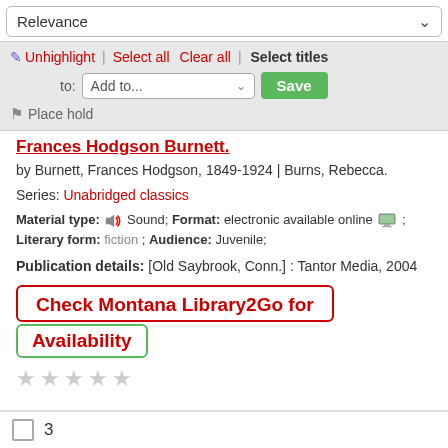Relevance
Unhighlight | Select all  Clear all | Select titles to: Add to... Save  Place hold
Frances Hodgson Burnett.
by Burnett, Frances Hodgson, 1849-1924 | Burns, Rebecca.
Series: Unabridged classics
Material type: Sound; Format: electronic available online; Literary form: fiction; Audience: Juvenile;
Publication details: [Old Saybrook, Conn.] : Tantor Media, 2004
Check Montana Library2Go for Availability
3